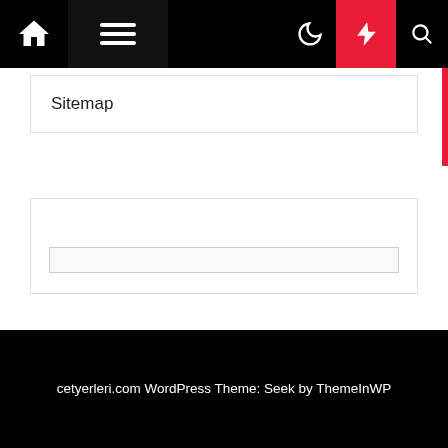Navigation bar with home, menu, moon, bolt, search icons
Sitemap
[Figure (screenshot): Empty search/widget box with input field]
Visit Now
Lawyer
cetyerleri.com WordPress Theme: Seek by ThemeInWP